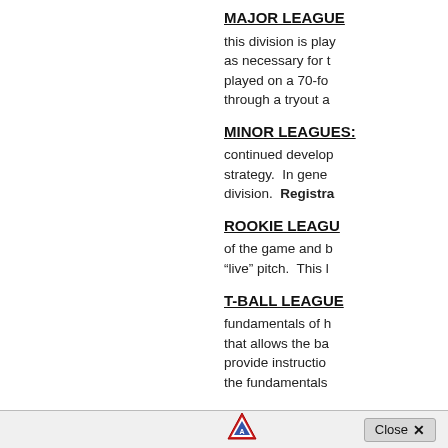MAJOR LEAGUE
this division is played as necessary for the played on a 70-fo through a tryout a
MINOR LEAGUES:
continued develop strategy.  In gene division.  Registration
ROOKIE LEAGU
of the game and b "live" pitch.  This l
T-BALL LEAGUE
fundamentals of h that allows the ba provide instructio the fundamentals